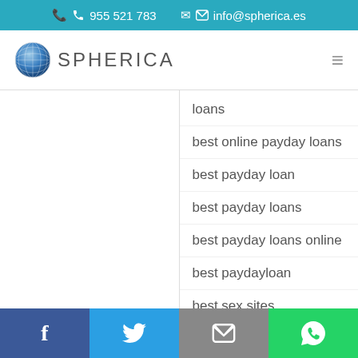955 521 783   info@spherica.es
[Figure (logo): Spherica globe logo with text SPHERICA]
loans
best online payday loans
best payday loan
best payday loans
best payday loans online
best paydayloan
best sex sites
Utilizamos cookies para asegurar que damos la mejor experiencia al usuario en nuestro sitio web. Si continúa utilizando este sitio asumiremos que está de acuerdo.
Facebook  Twitter  Email  WhatsApp